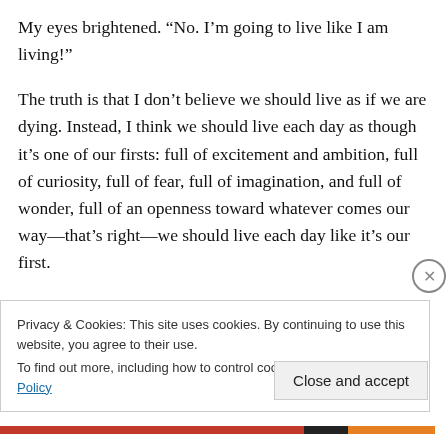My eyes brightened. “No. I’m going to live like I am living!”
The truth is that I don’t believe we should live as if we are dying. Instead, I think we should live each day as though it’s one of our firsts: full of excitement and ambition, full of curiosity, full of fear, full of imagination, and full of wonder, full of an openness toward whatever comes our way—that’s right—we should live each day like it’s our first.
For so long, I had forgotten what firsts felt like. When we are young, our firsts are celebrated with smiles and applause and sometimes balloons. First step. First word.
Privacy & Cookies: This site uses cookies. By continuing to use this website, you agree to their use.
To find out more, including how to control cookies, see here: Cookie Policy
Close and accept